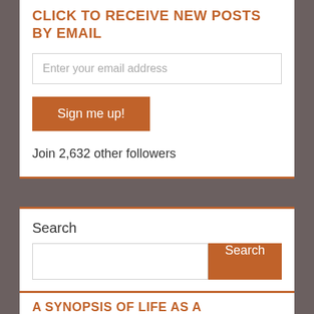CLICK TO RECEIVE NEW POSTS BY EMAIL
Enter your email address
Sign me up!
Join 2,632 other followers
Search
Search
A SYNOPSIS OF LIFE AS A